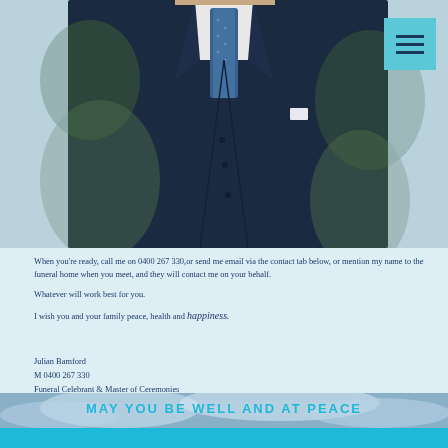[Figure (photo): A man in a dark navy suit and patterned blue tie standing outdoors with greenery in background. A teal/cyan hamburger menu icon is visible in the top right corner.]
When you're ready, call me on 0400 267 330,or send me email via the contact tab below, or mention my name to the funeral home when you meet, and they will contact me on your behalf.
Whatever will work best for you.
I wish you and your family peace, health and happiness.
Julian Bamford
M 0400 267 330
Funeral Celebrant & Master of Ceremonies
MAY YOU BE WELL AND AT PEACE